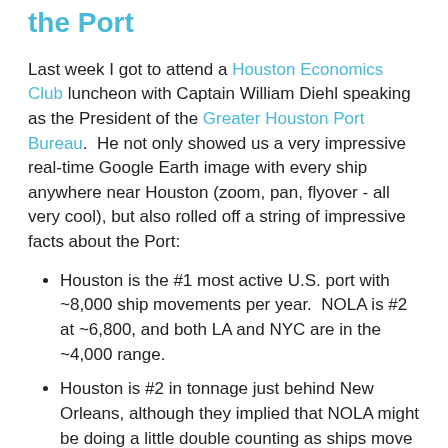the Port
Last week I got to attend a Houston Economics Club luncheon with Captain William Diehl speaking as the President of the Greater Houston Port Bureau.  He not only showed us a very impressive real-time Google Earth image with every ship anywhere near Houston (zoom, pan, flyover - all very cool), but also rolled off a string of impressive facts about the Port:
Houston is the #1 most active U.S. port with ~8,000 ship movements per year.  NOLA is #2 at ~6,800, and both LA and NYC are in the ~4,000 range.
Houston is #2 in tonnage just behind New Orleans, although they implied that NOLA might be doing a little double counting as ships move up and down the Mississippi to and from Baton Rouge.  Texas City is #10 nationally.
Galveston moves ~1 million cruise passengers a year, and mints money off of the parking for those